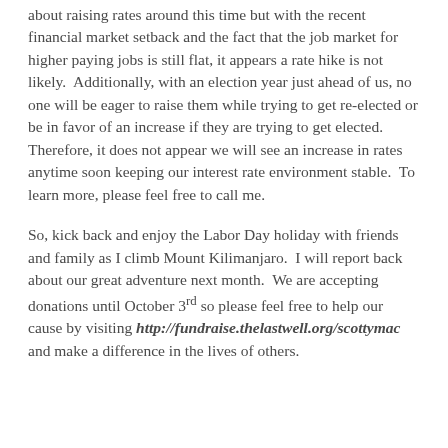about raising rates around this time but with the recent financial market setback and the fact that the job market for higher paying jobs is still flat, it appears a rate hike is not likely.  Additionally, with an election year just ahead of us, no one will be eager to raise them while trying to get re-elected or be in favor of an increase if they are trying to get elected.  Therefore, it does not appear we will see an increase in rates anytime soon keeping our interest rate environment stable.  To learn more, please feel free to call me.
So, kick back and enjoy the Labor Day holiday with friends and family as I climb Mount Kilimanjaro.  I will report back about our great adventure next month.  We are accepting donations until October 3rd so please feel free to help our cause by visiting http://fundraise.thelastwell.org/scottymac and make a difference in the lives of others.